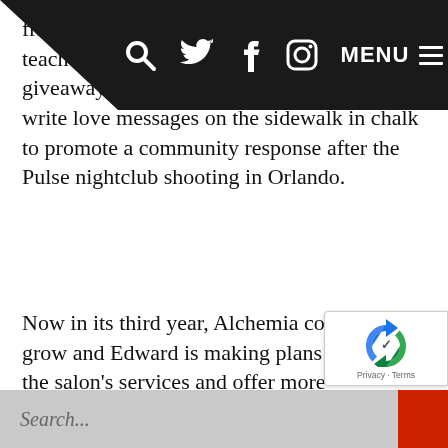Navigation bar with search, Twitter, Facebook, Instagram icons and MENU
friendly teachers, giveaways, and encouraged passersby to write love messages on the sidewalk in chalk to promote a community response after the Pulse nightclub shooting in Orlando.
Now in its third year, Alchemia continues to grow and Edward is making plans to expand the salon’s services and offer more specialties. Aside from that, he plans to increase their community involvement and community care – so stop by and see for yourself what the buzz is about!
Search...